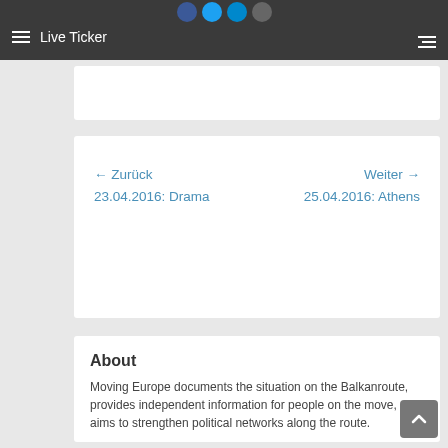Live Ticker
← Zurück
23.04.2016: Drama
Weiter →
25.04.2016: Athens
About
Moving Europe documents the situation on the Balkanroute, provides independent information for people on the move, and aims to strengthen political networks along the route.